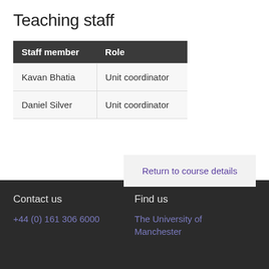Teaching staff
| Staff member | Role |
| --- | --- |
| Kavan Bhatia | Unit coordinator |
| Daniel Silver | Unit coordinator |
Return to course details
Contact us
Find us
+44 (0) 161 306 6000
The University of Manchester